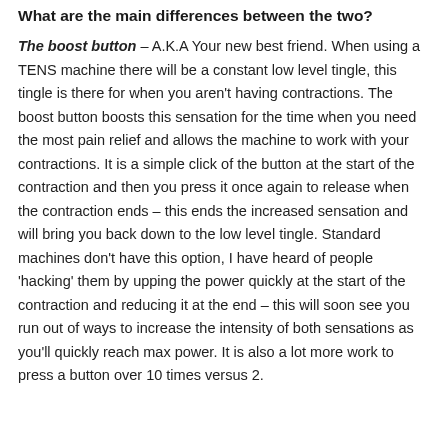What are the main differences between the two?
The boost button – A.K.A Your new best friend. When using a TENS machine there will be a constant low level tingle, this tingle is there for when you aren't having contractions. The boost button boosts this sensation for the time when you need the most pain relief and allows the machine to work with your contractions. It is a simple click of the button at the start of the contraction and then you press it once again to release when the contraction ends – this ends the increased sensation and will bring you back down to the low level tingle. Standard machines don't have this option, I have heard of people 'hacking' them by upping the power quickly at the start of the contraction and reducing it at the end – this will soon see you run out of ways to increase the intensity of both sensations as you'll quickly reach max power. It is also a lot more work to press a button over 10 times versus 2.